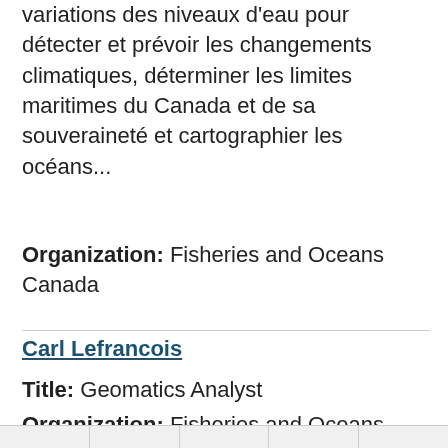variations des niveaux d'eau pour détecter et prévoir les changements climatiques, déterminer les limites maritimes du Canada et de sa souveraineté et cartographier les océans...
Organization: Fisheries and Oceans Canada
Carl Lefrancois
Title: Geomatics Analyst
Organization: Fisheries and Oceans Canada